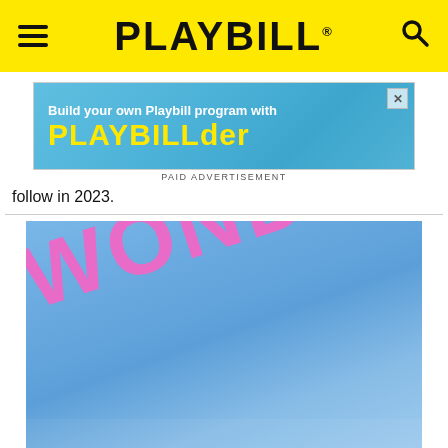PLAYBILL
[Figure (screenshot): Playbill advertisement banner: 'Build your own Playbill program with PLAYBILLder' on blue background with yellow text. PAID ADVERTISEMENT label below.]
follow in 2023.
[Figure (photo): Blue sky background with large pink bold text reading 'WONDER BOY' at an angle]
STREAMING